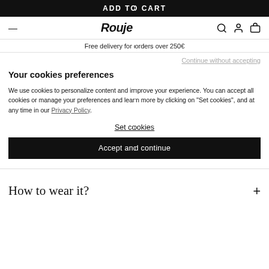ADD TO CART
Rouje
Free delivery for orders over 250€
Continue without accepting
Your cookies preferences
We use cookies to personalize content and improve your experience. You can accept all cookies or manage your preferences and learn more by clicking on "Set cookies", and at any time in our Privacy Policy.
Set cookies
Accept and continue
How to wear it?